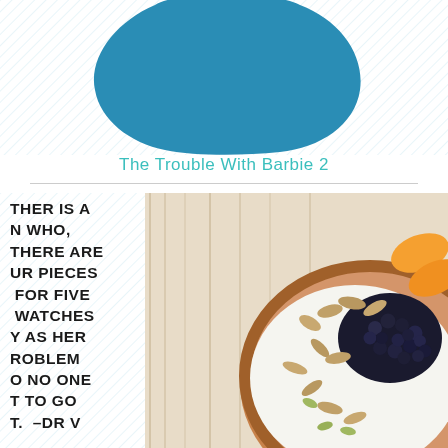[Figure (illustration): Top decorative area with diagonal hatching lines background and a large teal/blue organic blob shape in the center]
The Trouble With Barbie 2
[Figure (photo): A decorated pie or cake with whipped cream, blueberries, almonds, pumpkin seeds, and sliced orange/carrot on a wooden surface. Overlaid with bold black text reading partial quote: ...THER IS A ...N WHO, ...THERE ARE ...UR PIECES ...FOR FIVE ...WATCHES ...Y AS HER ...ROBLEM ...O NO ONE ...T TO GO ...T. -DR V]